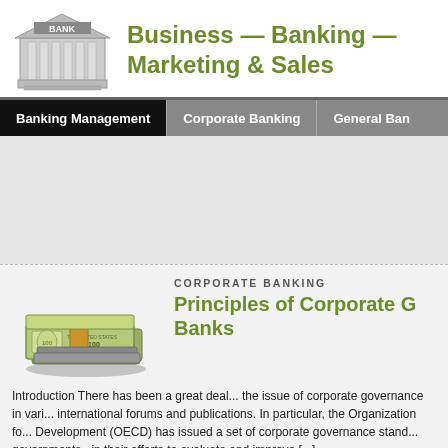[Figure (logo): Bank building illustration with columns and BANK sign]
Business — Banking — Marketing & Sales
Banking Management | Corporate Banking | General Ban...
[Figure (photo): Advertisement area - gray background]
CORPORATE BANKING
Principles of Corporate G... Banks
[Figure (photo): Stack of US dollar bills]
Introduction There has been a great deal... the issue of corporate governance in vari... international forums and publications. In particular, the Organization fo... Development (OECD) has issued a set of corporate governance stand... governments «in their efforts to evaluate and improve [...] [More]